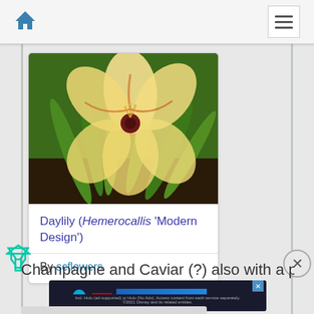Navigation bar with home icon and hamburger menu
[Figure (photo): Photograph of a daylily flower (Hemerocallis 'Modern Design') showing cream/yellow petals with dark red markings at the center, surrounded by green foliage]
Daylily (Hemerocallis 'Modern Design')
By scflowers
Champagne and Caviar (?) also with a poly bloom
[Figure (infographic): Disney Bundle advertisement banner showing Hulu, Disney+, ESPN+ logos and GET THE DISNEY BUNDLE call to action]